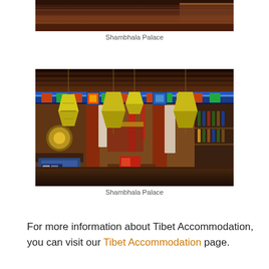[Figure (photo): Partial view of Shambhala Palace interior showing dark wooden ceiling and warm tones - top cropped portion]
Shambhala Palace
[Figure (photo): Interior of Shambhala Palace showing colorful Tibetan decorations, ornate painted columns in red, blue, green and gold, hanging diamond-shaped yellow lanterns, traditional fabrics and textiles, a bar area on the right with bottles, and traditional furniture]
Shambhala Palace
For more information about Tibet Accommodation, you can visit our Tibet Accommodation page.